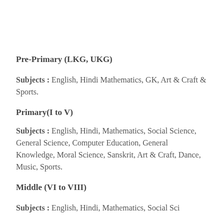Pre-Primary (LKG, UKG)
Subjects : English, Hindi Mathematics, GK, Art & Craft & Sports.
Primary(I to V)
Subjects : English, Hindi, Mathematics, Social Science, General Science, Computer Education, General Knowledge, Moral Science, Sanskrit, Art & Craft, Dance, Music, Sports.
Middle (VI to VIII)
Subjects : English, Hindi, Mathematics, Social Sci...